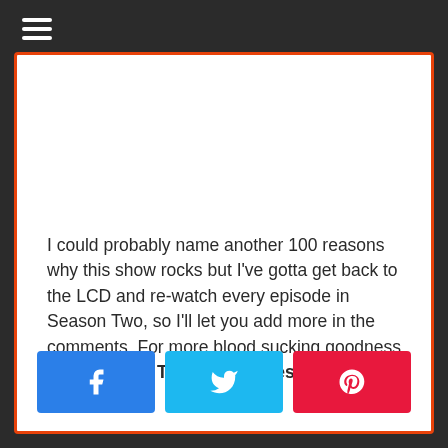[Figure (other): Hamburger menu icon (three white horizontal lines) on dark background]
I could probably name another 100 reasons why this show rocks but I've gotta get back to the LCD and re-watch every episode in Season Two, so I'll let you add more in the comments. For more blood sucking goodness, check out our Top 10 Vampires in Pop Culture.
[Figure (other): Social sharing buttons: Facebook (blue), Twitter (light blue), Pinterest (red)]